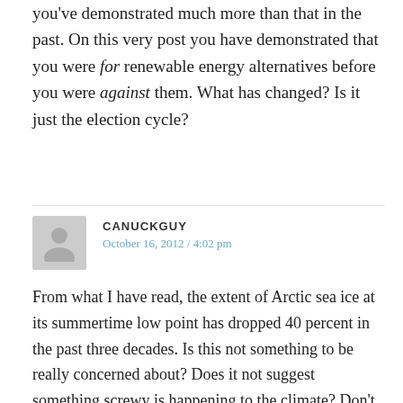you've demonstrated much more than that in the past. On this very post you have demonstrated that you were for renewable energy alternatives before you were against them. What has changed? Is it just the election cycle?
CANUCKGUY
October 16, 2012 / 4:02 pm
From what I have read, the extent of Arctic sea ice at its summertime low point has dropped 40 percent in the past three decades. Is this not something to be really concerned about? Does it not suggest something screwy is happening to the climate? Don't let a red herring like a fairly marginal increase in the Antarctaric ice increase over the same time period cloud the issue. Mark my words, you deniers will have to eat your words eventually and it will happen sooner than